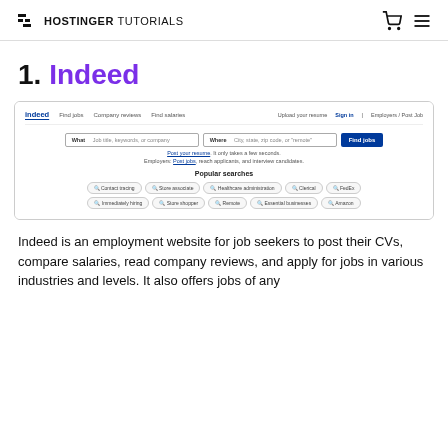HOSTINGER TUTORIALS
1. Indeed
[Figure (screenshot): Screenshot of the Indeed website homepage showing the navigation bar with 'Indeed', 'Find jobs', 'Company reviews', 'Find salaries' links and 'Upload your resume', 'Sign in', 'Employers / Post Job' on the right. Below is a search area with 'What' and 'Where' input fields and a blue 'Find jobs' button. Text reads 'Post your resume. It only takes a few seconds.' and 'Employers: Post jobs, reach applicants, and interview candidates.' A 'Popular searches' section shows tags: Contact tracing, Store associate, Healthcare administration, Clerical, FedEx, Immediately hiring, Store shopper, Remote, Essential businesses, Amazon.]
Indeed is an employment website for job seekers to post their CVs, compare salaries, read company reviews, and apply for jobs in various industries and levels. It also offers jobs of any